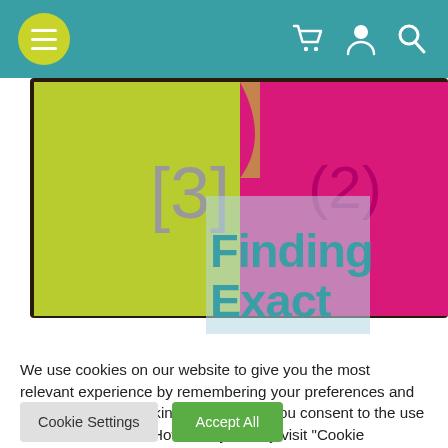Navigation header with menu button and icons for cart, user, and search
[Figure (photo): Hero image showing colorful sticky note pads (green and magenta/pink) with numbers [3] and (2) visible, with a semi-transparent light blue overlay box and teal text reading 'Finding Exact']
We use cookies on our website to give you the most relevant experience by remembering your preferences and repeat visits. By clicking "Accept All", you consent to the use of ALL the cookies. However, you may visit "Cookie Settings" to provide a controlled consent.
Cookie Settings | Accept All